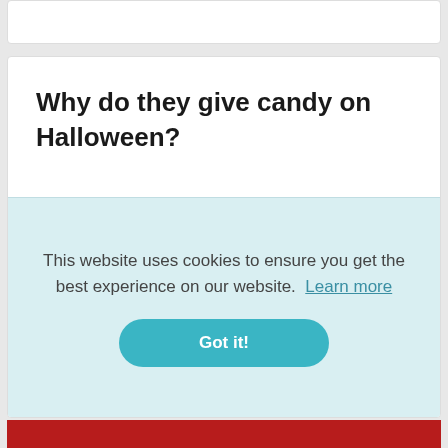Why do they give candy on Halloween?
[Figure (illustration): Twitter bird icon (white on blue rounded square) and Blogger icon (white B on orange rounded square)]
They focused on getting shopkeepers to promote candy as the thing to pass out on Halloween. Back in the 1950s and 1960s, kids
This website uses cookies to ensure you get the best experience on our website.  Learn more
Got it!